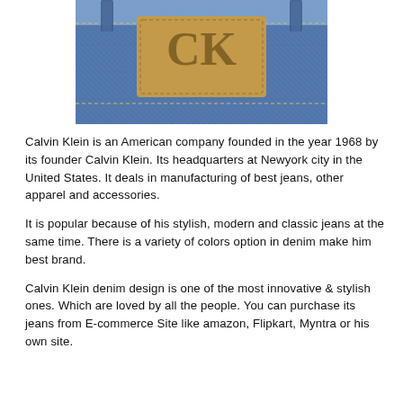[Figure (photo): Close-up photo of the back waistband of Calvin Klein jeans showing the leather CK logo patch stitched onto blue denim fabric.]
Calvin Klein is an American company founded in the year 1968 by its founder Calvin Klein. Its headquarters at Newyork city in the United States. It deals in manufacturing of best jeans, other apparel and accessories.
It is popular because of his stylish, modern and classic jeans at the same time. There is a variety of colors option in denim make him best brand.
Calvin Klein denim design is one of the most innovative & stylish ones. Which are loved by all the people. You can purchase its jeans from E-commerce Site like amazon, Flipkart, Myntra or his own site.